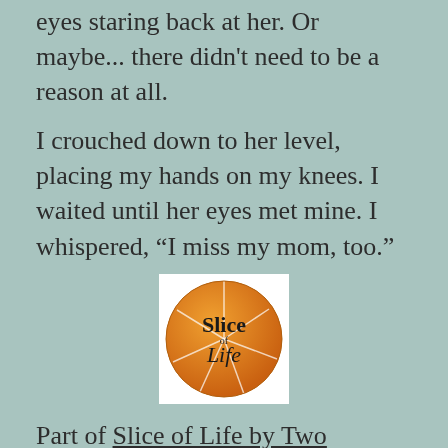eyes staring back at her. Or maybe... there didn't need to be a reason at all.
I crouched down to her level, placing my hands on my knees. I waited until her eyes met mine. I whispered, “I miss my mom, too.”
[Figure (logo): Slice of Life logo - orange slice graphic with 'Slice of Life' text]
Part of Slice of Life by Two Writing Teachers March Slice a Day Challenge! I’m slicing every day this month. Thanks for stopping by.
Share this: